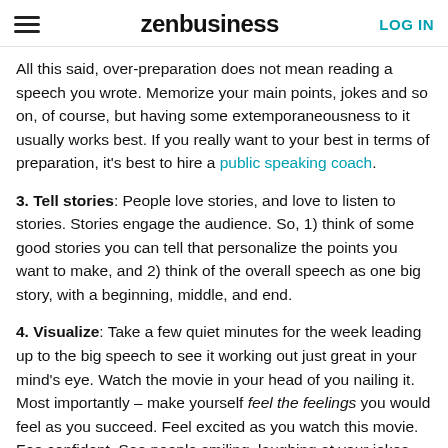zenbusiness | LOG IN
All this said, over-preparation does not mean reading a speech you wrote. Memorize your main points, jokes and so on, of course, but having some extemporaneousness to it usually works best. If you really want to your best in terms of preparation, it's best to hire a public speaking coach.
3. Tell stories: People love stories, and love to listen to stories. Stories engage the audience. So, 1) think of some good stories you can tell that personalize the points you want to make, and 2) think of the overall speech as one big story, with a beginning, middle, and end.
4. Visualize: Take a few quiet minutes for the week leading up to the big speech to see it working out just great in your mind's eye. Watch the movie in your head of you nailing it. Most importantly – make yourself feel the feelings you would feel as you succeed. Feel excited as you watch this movie. Fee confident. See people smiling, laughing at your jokes, nodding in agreement with your